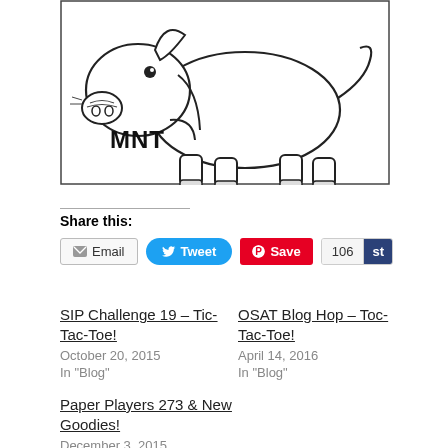[Figure (illustration): Line drawing of a pig (or boar) facing right, with 'MNT' text in the lower left corner inside a bordered rectangle]
Share this:
Email | Tweet | Save | 106 | st
SIP Challenge 19 – Tic-Tac-Toe!
October 20, 2015
In "Blog"
OSAT Blog Hop – Toc-Tac-Toe!
April 14, 2016
In "Blog"
Paper Players 273 & New Goodies!
December 3, 2015
In "2015-2016 Annual